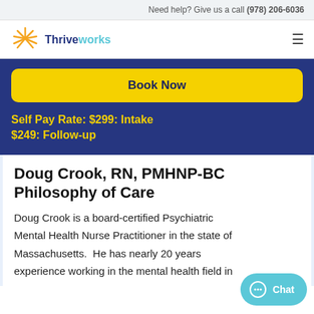Need help? Give us a call (978) 206-6036
[Figure (logo): Thriveworks logo with sun/rays icon and text 'Thriveworks']
Book Now
Self Pay Rate: $299: Intake $249: Follow-up
Doug Crook, RN, PMHNP-BC Philosophy of Care
Doug Crook is a board-certified Psychiatric Mental Health Nurse Practitioner in the state of Massachusetts.  He has nearly 20 years experience working in the mental health field in